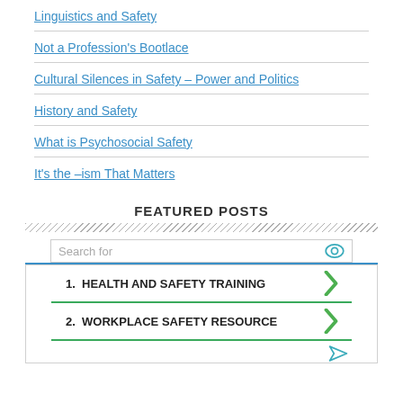Linguistics and Safety
Not a Profession's Bootlace
Cultural Silences in Safety – Power and Politics
History and Safety
What is Psychosocial Safety
It's the –ism That Matters
FEATURED POSTS
Search for
1.  HEALTH AND SAFETY TRAINING
2.  WORKPLACE SAFETY RESOURCE